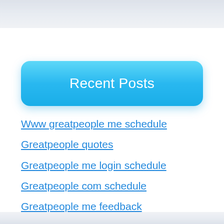Recent Posts
Www greatpeople me schedule
Greatpeople quotes
Greatpeople me login schedule
Greatpeople com schedule
Greatpeople me feedback